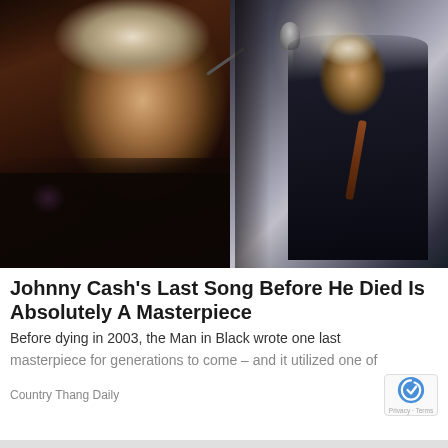[Figure (photo): Two photos of Johnny Cash side by side: left is a close-up portrait of an older man with white hair wearing a black embroidered jacket; right shows him standing at a microphone on stage wearing a black outfit.]
Johnny Cash's Last Song Before He Died Is Absolutely A Masterpiece
Before dying in 2003, the Man in Black wrote one last masterpiece for generations to come – and it utilized one of
Country Thang Daily